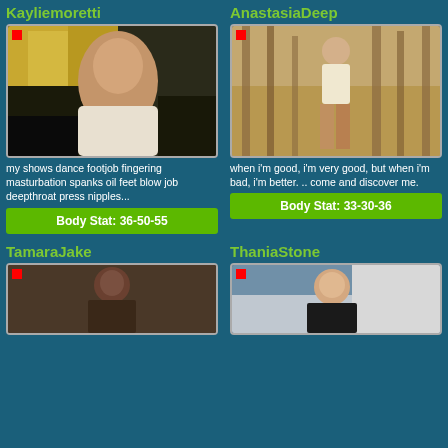Kayliemoretti
[Figure (photo): Profile photo of Kayliemoretti - woman lying on bed with yellow pillows]
my shows dance footjob fingering masturbation spanks oil feet blow job deepthroat press nipples...
Body Stat: 36-50-55
AnastasiaDeep
[Figure (photo): Profile photo of AnastasiaDeep - blonde woman standing outdoors among wooden poles]
when i'm good, i'm very good, but when i'm bad, i'm better. .. come and discover me.
Body Stat: 33-30-36
TamaraJake
[Figure (photo): Profile photo of TamaraJake - dark-skinned woman posing]
ThaniaStone
[Figure (photo): Profile photo of ThaniaStone - woman in black swimwear on white couch]